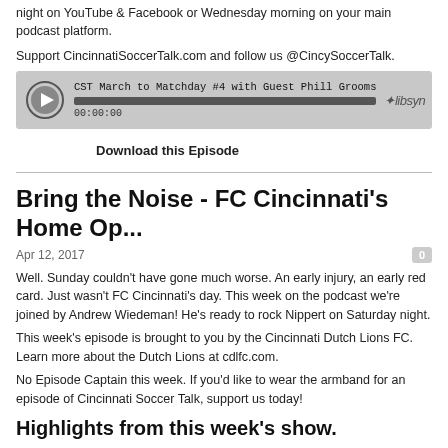night on YouTube & Facebook or Wednesday morning on your main podcast platform.
Support CincinnatiSoccerTalk.com and follow us @CincySoccerTalk.
[Figure (other): Podcast audio player widget showing 'CST March to Matchday #4 with Guest Phill Grooms', a progress bar at 00:00:00, play button, and Libsyn logo]
Download this Episode
Bring the Noise - FC Cincinnati's Home Op...
Apr 12, 2017
Well. Sunday couldn't have gone much worse. An early injury, an early red card. Just wasn't FC Cincinnati's day. This week on the podcast we're joined by Andrew Wiedeman! He's ready to rock Nippert on Saturday night.
This week's episode is brought to you by the Cincinnati Dutch Lions FC. Learn more about the Dutch Lions at cdlfc.com.
No Episode Captain this week. If you'd like to wear the armband for an episode of Cincinnati Soccer Talk, support us today!
Highlights from this week's show.